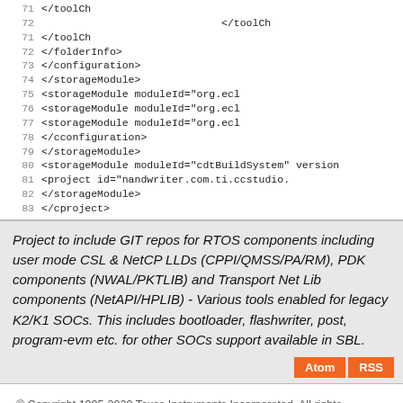71   </toolCh
72   </folderInfo>
73   </configuration>
74   </storageModule>
75   <storageModule moduleId="org.ecl
76   <storageModule moduleId="org.ecl
77   <storageModule moduleId="org.ecl
78   </cconfiguration>
79   </storageModule>
80   <storageModule moduleId="cdtBuildSystem" version
81   <project id="nandwriter.com.ti.ccstudio.
82   </storageModule>
83   </cproject>
Project to include GIT repos for RTOS components including user mode CSL & NetCP LLDs (CPPI/QMSS/PA/RM), PDK components (NWAL/PKTLIB) and Transport Net Lib components (NetAPI/HPLIB) - Various tools enabled for legacy K2/K1 SOCs. This includes bootloader, flashwriter, post, program-evm etc. for other SOCs support available in SBL.
© Copyright 1995-2020 Texas Instruments Incorporated. All rights reserved.
Trademarks | Privacy policy | Terms of use | Terms of sale